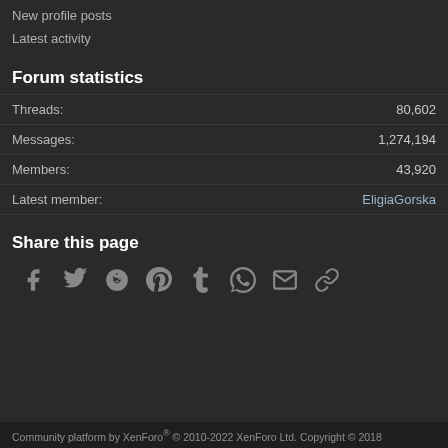New profile posts
Latest activity
Forum statistics
Threads: 80,602
Messages: 1,274,194
Members: 43,920
Latest member: EligiaGorska
Share this page
[Figure (infographic): Social share icons: Facebook, Twitter, Reddit, Pinterest, Tumblr, WhatsApp, Email, Link]
Community platform by XenForo® © 2010-2022 XenForo Ltd. Copyright © 2018